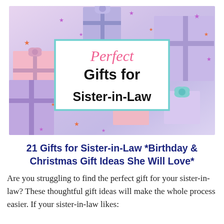[Figure (photo): Hero image showing colorful wrapped gift boxes (pink, purple, blue) with ribbons and star confetti scattered around, with a white card in the center displaying the title text 'Perfect Gifts for Sister-in-Law']
21 Gifts for Sister-in-Law *Birthday & Christmas Gift Ideas She Will Love*
Are you struggling to find the perfect gift for your sister-in-law? These thoughtful gift ideas will make the whole process easier. If your sister-in-law likes: